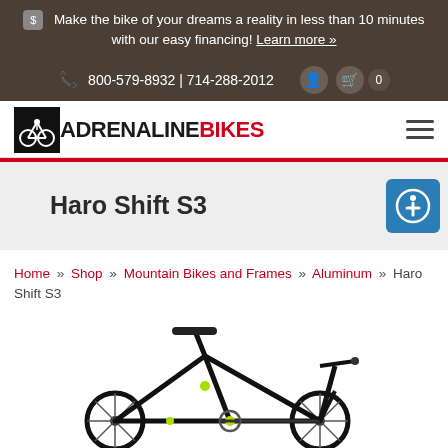Make the bike of your dreams a reality in less than 10 minutes with our easy financing! Learn more »
📞 800-579-8932 | 714-288-2012
[Figure (logo): Adrenaline Bikes logo with black cyclist icon and red BIKES text]
Haro Shift S3
Home » Shop » Mountain Bikes and Frames » Aluminum » Haro Shift S3
[Figure (photo): Black Haro Shift S3 mountain bike partial view showing frame, seat, and handlebars]